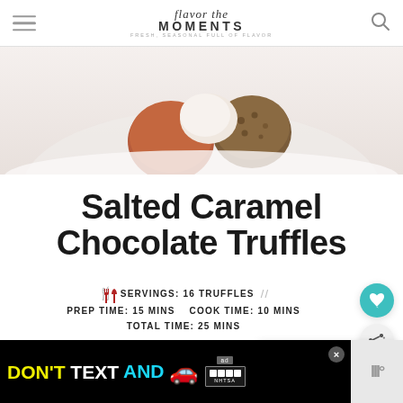flavor the MOMENTS — FRESH, SEASONAL FULL OF FLAVOR
[Figure (photo): Chocolate truffles on a white plate — one dusted in cocoa powder, one coated in chopped nuts, partially visible at top of page]
Salted Caramel Chocolate Truffles
SERVINGS: 16 TRUFFLES // PREP TIME: 15 MINS   COOK TIME: 10 MINS   TOTAL TIME: 25 MINS
Salted caramel truffles are the ea... chocolate truffles ever, and can be made with ...
[Figure (screenshot): WHAT'S NEXT panel showing 'Salted Chocolate...' with cookie thumbnail image]